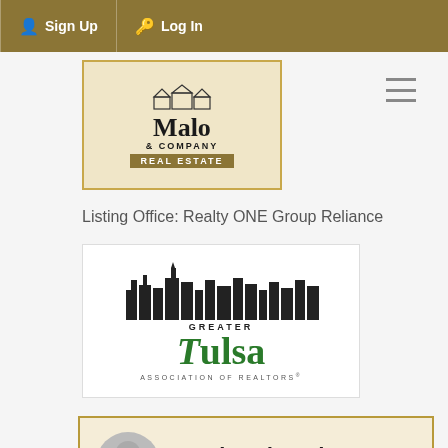Sign Up  Log In
[Figure (logo): Malo & Company Real Estate logo on beige background with golden border]
Listing Office: Realty ONE Group Reliance
[Figure (logo): Greater Tulsa Association of Realtors logo with city skyline]
Justin Edwards
REAL ESTATE GROUP
Request Info
Schedule Showing
Name